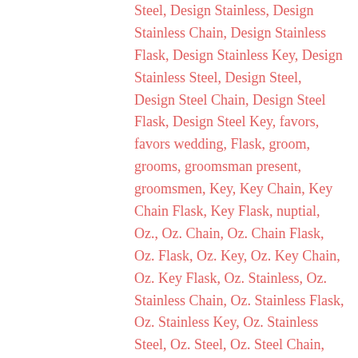Steel, Design Stainless, Design Stainless Chain, Design Stainless Flask, Design Stainless Key, Design Stainless Steel, Design Steel, Design Steel Chain, Design Steel Flask, Design Steel Key, favors, favors wedding, Flask, groom, grooms, groomsman present, groomsmen, Key, Key Chain, Key Chain Flask, Key Flask, nuptial, Oz., Oz. Chain, Oz. Chain Flask, Oz. Flask, Oz. Key, Oz. Key Chain, Oz. Key Flask, Oz. Stainless, Oz. Stainless Chain, Oz. Stainless Flask, Oz. Stainless Key, Oz. Stainless Steel, Oz. Steel, Oz. Steel Chain, Oz. Steel Flask, Oz. Steel Key, Socket, Socket 1, Socket 1 Chain, Socket 1 Flask, Socket 1 Key, Socket 1 Oz., Socket 1 Stainless, Socket 1 Steel, Socket Chain, Socket Chain Flask, Socket Design, Socket Design 1, Socket Design Chain, Socket Design Flask, Socket Design Key, Socket Design Oz., Socket Design Stainless, Socket Design Steel,